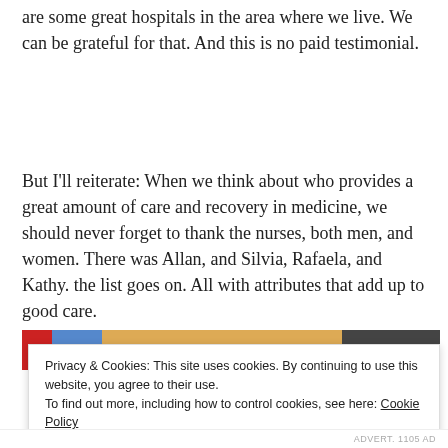are some great hospitals in the area where we live. We can be grateful for that. And this is no paid testimonial.
But I'll reiterate: When we think about who provides a great amount of care and recovery in medicine, we should never forget to thank the nurses, both men, and women. There was Allan, and Silvia, Rafaela, and Kathy. the list goes on. All with attributes that add up to good care.
[Figure (photo): A partial image strip showing colorful photo content, partially obscured by cookie consent banner]
Privacy & Cookies: This site uses cookies. By continuing to use this website, you agree to their use.
To find out more, including how to control cookies, see here: Cookie Policy
Close and accept
ADVERT. 1105 AD